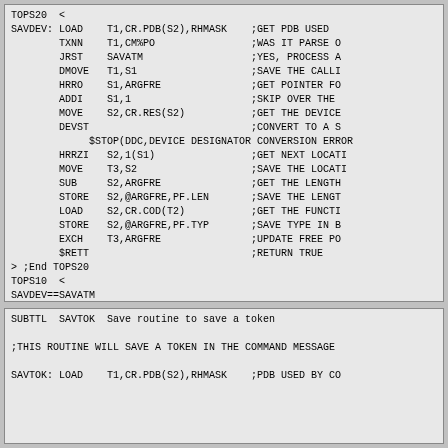TOPS20 <
SAVDEV: LOAD    T1,CR.PDB(S2),RHMASK    ;GET PDB USED
        TXNN    T1,CM%PO                ;WAS IT PARSE O
        JRST    SAVATM                  ;YES, PROCESS A
        DMOVE   T1,S1                   ;SAVE THE CALLI
        HRRO    S1,ARGFRE               ;GET POINTER FO
        ADDI    S1,1                    ;SKIP OVER THE
        MOVE    S2,CR.RES(S2)           ;GET THE DEVICE
        DEVST                           ;CONVERT TO A S
             $STOP(DDC,DEVICE DESIGNATOR CONVERSION ERROR
        HRRZI   S2,1(S1)                ;GET NEXT LOCATI
        MOVE    T3,S2                   ;SAVE THE LOCATI
        SUB     S2,ARGFRE               ;GET THE LENGTH
        STORE   S2,@ARGFRE,PF.LEN       ;SAVE THE LENGT
        LOAD    S2,CR.COD(T2)           ;GET THE FUNCTI
        STORE   S2,@ARGFRE,PF.TYP       ;SAVE TYPE IN B
        EXCH    T3,ARGFRE               ;UPDATE FREE PO
        $RETT                           ;RETURN TRUE
> ;End TOPS20
TOPS10  <
SAVDEV==SAVATM
> ;End TOPS10
SUBTTL  SAVTOK  Save routine to save a token

;THIS ROUTINE WILL SAVE A TOKEN IN THE COMMAND MESSAGE

SAVTOK: LOAD    T1,CR.PDB(S2),RHMASK    ;PDB USED BY CO